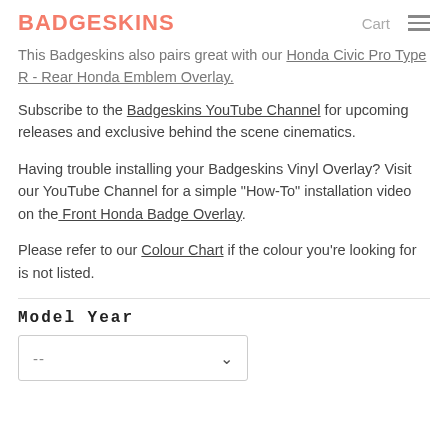BADGESKINS | Cart
This Badgeskins also pairs great with our Honda Civic Pro Type R - Rear Honda Emblem Overlay.
Subscribe to the Badgeskins YouTube Channel for upcoming releases and exclusive behind the scene cinematics.
Having trouble installing your Badgeskins Vinyl Overlay? Visit our YouTube Channel for a simple "How-To" installation video on the Front Honda Badge Overlay.
Please refer to our Colour Chart if the colour you're looking for is not listed.
Model Year